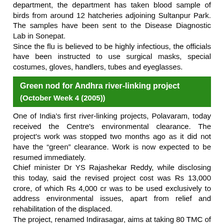department, the department has taken blood sample of birds from around 12 hatcheries adjoining Sultanpur Park. The samples have been sent to the Disease Diagnostic Lab in Sonepat.
Since the flu is believed to be highly infectious, the officials have been instructed to use surgical masks, special costumes, gloves, handlers, tubes and eyeglasses.
Green nod for Andhra river-linking project
(October Week 4 (2005))
One of India's first river-linking projects, Polavaram, today received the Centre's environmental clearance. The project's work was stopped two months ago as it did not have the "green" clearance. Work is now expected to be resumed immediately.
Chief minister Dr YS Rajashekar Reddy, while disclosing this today, said the revised project cost was Rs 13,000 crore, of which Rs 4,000 cr was to be used exclusively to address environmental issues, apart from relief and rehabilitation of the displaced.
The project, renamed Indirasagar, aims at taking 80 TMC of water from river Godavari, the country's second-largest river, to river